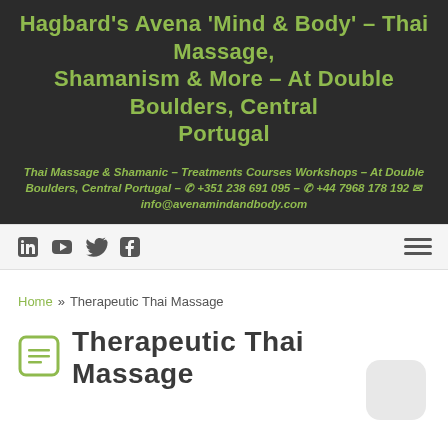Hagbard's Avena 'Mind & Body' – Thai Massage, Shamanism & More – At Double Boulders, Central Portugal
Thai Massage & Shamanic – Treatments Courses Workshops – At Double Boulders, Central Portugal – ✆ +351 238 691 095 – ✆ +44 7968 178 192 ✉ info@avenamindandbody.com
Navigation bar with social icons (LinkedIn, YouTube, Twitter, Facebook) and hamburger menu
Home » Therapeutic Thai Massage
Therapeutic Thai Massage